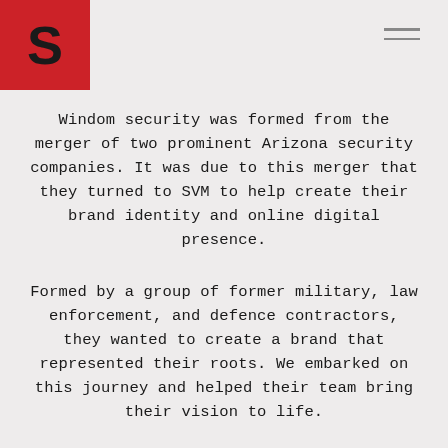[Figure (logo): Red square with a bold black S letter logo (SVM logo)]
Windom security was formed from the merger of two prominent Arizona security companies. It was due to this merger that they turned to SVM to help create their brand identity and online digital presence.
Formed by a group of former military, law enforcement, and defence contractors, they wanted to create a brand that represented their roots. We embarked on this journey and helped their team bring their vision to life.